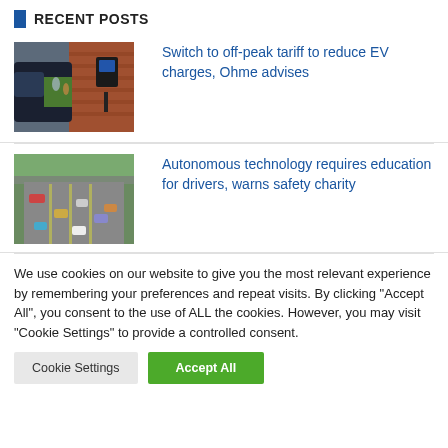RECENT POSTS
[Figure (photo): EV charger mounted on brick wall with car and children in background]
Switch to off-peak tariff to reduce EV charges, Ohme advises
[Figure (photo): Aerial view of motorway with cars driving in multiple lanes]
Autonomous technology requires education for drivers, warns safety charity
We use cookies on our website to give you the most relevant experience by remembering your preferences and repeat visits. By clicking "Accept All", you consent to the use of ALL the cookies. However, you may visit "Cookie Settings" to provide a controlled consent.
Cookie Settings
Accept All